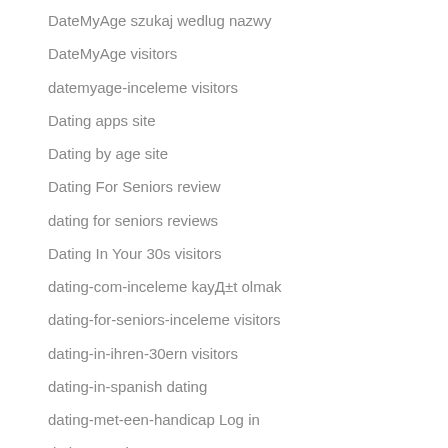DateMyAge szukaj wedlug nazwy
DateMyAge visitors
datemyage-inceleme visitors
Dating apps site
Dating by age site
Dating For Seniors review
dating for seniors reviews
Dating In Your 30s visitors
dating-com-inceleme kayД±t olmak
dating-for-seniors-inceleme visitors
dating-in-ihren-30ern visitors
dating-in-spanish dating
dating-met-een-handicap Log in
dating.com bewertung
dating4disabled recenzje